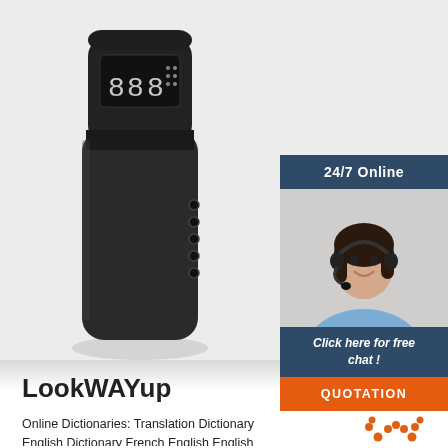[Figure (photo): Dark portable electronic device (possibly a translator or power bank) with digital display on top showing segments, buttons on the side, standing upright on a light gray surface.]
[Figure (photo): Customer service agent: a woman with dark hair wearing a headset and blue shirt, smiling. Above her is a dark blue '24/7 Online' bar. Below is a dark blue 'Click here for free chat!' bar and an orange 'QUOTATION' button.]
LookWAYup
Online Dictionaries: Translation Dictionary English Dictionary French English English French Spanish English English Spanish: Portuguese English English Portuguese German English English German Dutch English English Dutch
[Figure (logo): TOP badge: orange dots in an arc above the word TOP in large orange text]